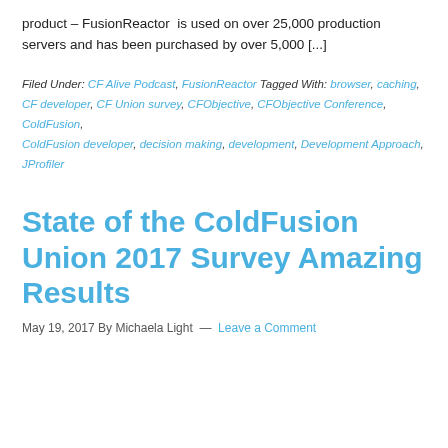product – FusionReactor is used on over 25,000 production servers and has been purchased by over 5,000 [...]
Filed Under: CF Alive Podcast, FusionReactor Tagged With: browser, caching, CF developer, CF Union survey, CFObjective, CFObjective Conference, ColdFusion, ColdFusion developer, decision making, development, Development Approach, JProfiler
State of the ColdFusion Union 2017 Survey Amazing Results
May 19, 2017 By Michaela Light — Leave a Comment